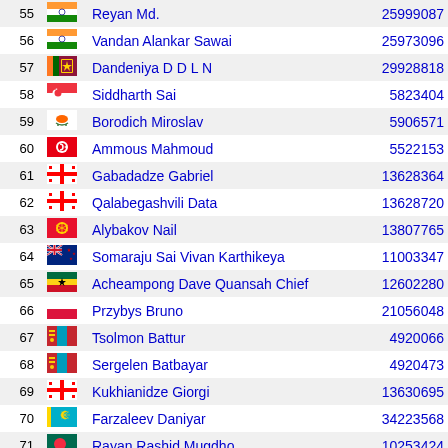| # | Flag | Name | ID |
| --- | --- | --- | --- |
| 55 |  | Reyan Md. | 25999087 |
| 56 |  | Vandan Alankar Sawai | 25973096 |
| 57 |  | Dandeniya D D L N | 29928818 |
| 58 |  | Siddharth Sai | 5823404 |
| 59 |  | Borodich Miroslav | 5906571 |
| 60 |  | Ammous Mahmoud | 5522153 |
| 61 |  | Gabadadze Gabriel | 13628364 |
| 62 |  | Qalabegashvili Data | 13628720 |
| 63 |  | Alybakov Nail | 13807765 |
| 64 |  | Somaraju Sai Vivan Karthikeya | 11003347 |
| 65 |  | Acheampong Dave Quansah Chief | 12602280 |
| 66 |  | Przybys Bruno | 21056048 |
| 67 |  | Tsolmon Battur | 4920066 |
| 68 |  | Sergelen Batbayar | 4920473 |
| 69 |  | Kukhianidze Giorgi | 13630695 |
| 70 |  | Farzaleev Daniyar | 34223568 |
| 71 |  | Rayan Rashid Mugdho | 10253424 |
| 72 |  | Apostolovski Filip | 14581159 |
| 73 |  | Dolmatov Dmitriy | 34297154 |
| 74 |  | Rukhadze Luka | 13633244 |